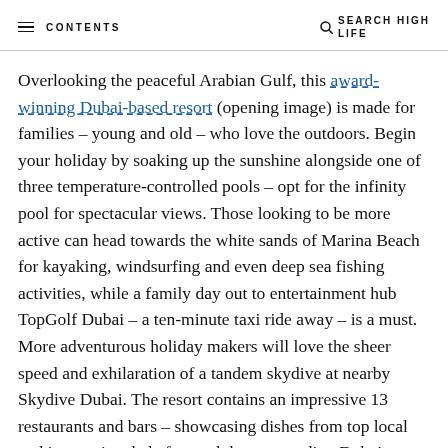CONTENTS | SEARCH HIGH LIFE
Overlooking the peaceful Arabian Gulf, this award-winning Dubai-based resort (opening image) is made for families – young and old – who love the outdoors. Begin your holiday by soaking up the sunshine alongside one of three temperature-controlled pools – opt for the infinity pool for spectacular views. Those looking to be more active can head towards the white sands of Marina Beach for kayaking, windsurfing and even deep sea fishing activities, while a family day out to entertainment hub TopGolf Dubai – a ten-minute taxi ride away – is a must. More adventurous holiday makers will love the sheer speed and exhilaration of a tandem skydive at nearby Skydive Dubai. The resort contains an impressive 13 restaurants and bars – showcasing dishes from top local and international chefs – and the surrounding Dubai Marina area adds even more cuisine choices to the local culinary options. Enjoy at least one meal at the fish market-style Geales, where wholesome British food is paired with mouthwateringly fresh